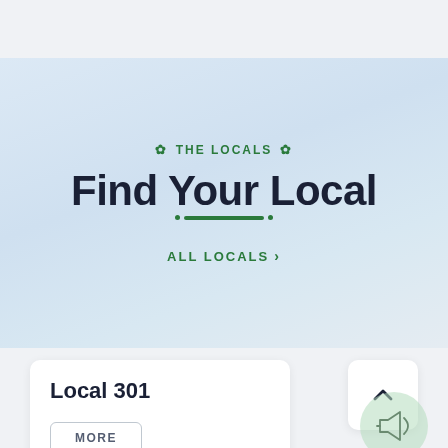THE LOCALS
Find Your Local
ALL LOCALS >
Local 301
MORE